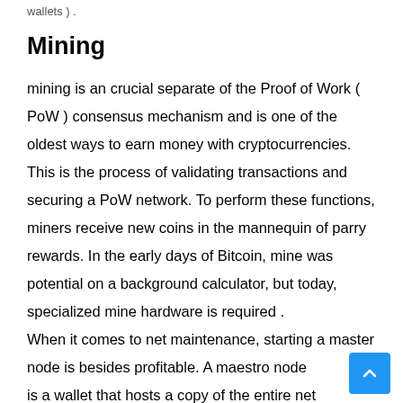wallets ) .
Mining
mining is an crucial separate of the Proof of Work ( PoW ) consensus mechanism and is one of the oldest ways to earn money with cryptocurrencies. This is the process of validating transactions and securing a PoW network. To perform these functions, miners receive new coins in the mannequin of parry rewards. In the early days of Bitcoin, mine was potential on a background calculator, but today, specialized mine hardware is required .
When it comes to net maintenance, starting a master node is besides profitable. A maestro node is a wallet that hosts a copy of the entire net